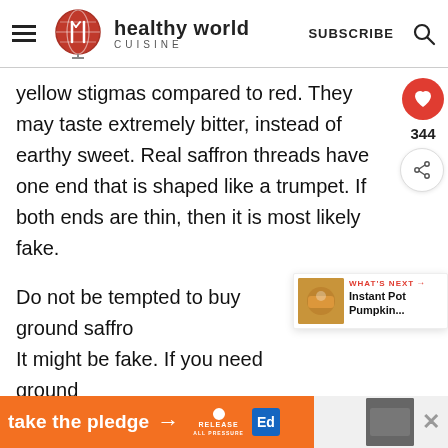healthy world CUISINE | SUBSCRIBE
yellow stigmas compared to red. They may taste extremely bitter, instead of earthy sweet. Real saffron threads have one end that is shaped like a trumpet. If both ends are thin, then it is most likely fake.
Do not be tempted to buy ground saffro... It might be fake. If you need ground saffron for a recipe, buy it whole and grind yourself. This way you know that you are b...
[Figure (other): What's Next promo card showing Instant Pot Pumpkin... recipe thumbnail]
[Figure (other): Advertisement bar: take the pledge arrow, Release logo, Ed logo, close button and thumbnail]